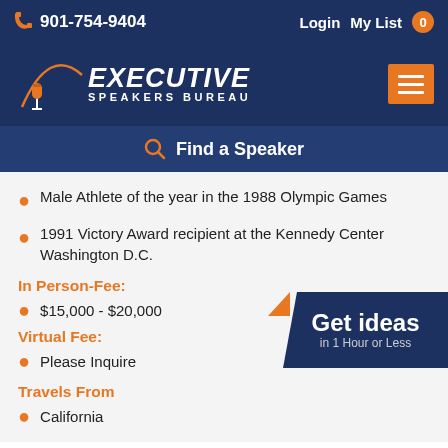901-754-9404   Login   My List 0
[Figure (logo): Executive Speakers Bureau logo with microphone icon and orange arc]
Find a Speaker
Male Athlete of the year in the 1988 Olympic Games
1991 Victory Award recipient at the Kennedy Center Washington D.C.
In Person-Fee:
$15,000 - $20,000
Virtual Fee:
Please Inquire
Travels From
California
[Figure (infographic): Get ideas in 1 Hour or Less promotional box]